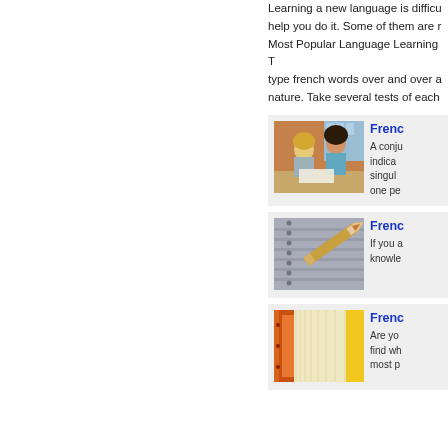Learning a new language is difficu help you do it. Some of them are r Most Popular Language Learning T type french words over and over a nature. Take several tests of each
[Figure (photo): Two young women students studying together at a table, one blonde and one with dark hair, with books open in front of them, building with windows in background]
Frenc
A conju indica singul one pe
[Figure (photo): Close-up of a pencil lying diagonally on a perforated surface or board with circular holes]
Frenc
If you a knowle
[Figure (photo): Close-up of book spines or stacked books showing orange/red covers and cream-colored pages, with yellow element on right side]
Frenc
Are yo find wh most p